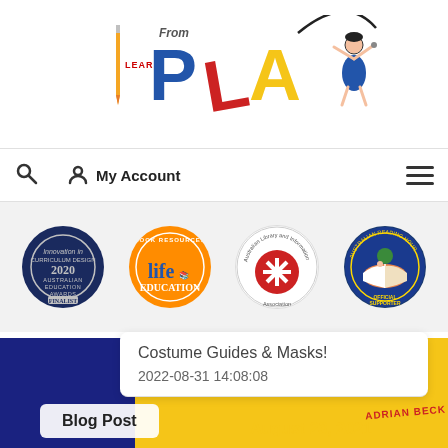[Figure (logo): Learn From Play logo featuring colorful text 'PLA' with a LEARN pencil and a child figure jumping rope, with 'from' above]
[Figure (screenshot): Navigation bar with search icon, My Account icon and label, and hamburger menu]
[Figure (infographic): Row of four circular badge logos: 2020 Australian Education Awards Finalist, Book Resources Life Education, Australian Library and Information Association, Australian Reading Hour Official Supporter]
Costume Guides & Masks!
2022-08-31 14:08:08
Blog Post
August 23, 2021